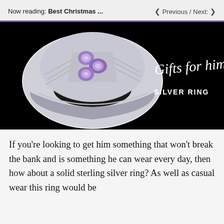Now reading: Best Christmas ... ❮ Previous / Next: ❯
[Figure (photo): A silver men's ring with purple/lavender gemstones set in an X pattern on a black background, with cursive text 'Gifts for him' and bold text 'SILVER RING' to the right.]
If you're looking to get him something that won't break the bank and is something he can wear every day, then how about a solid sterling silver ring? As well as casual wear this ring would be